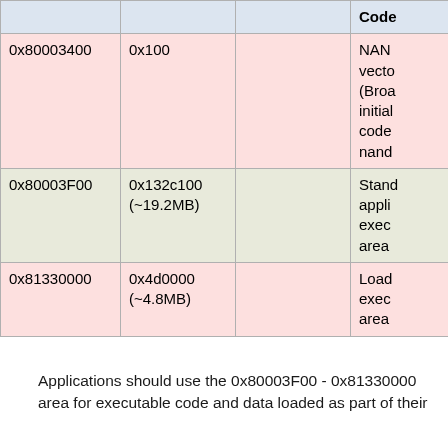|  |  |  | Code |
| --- | --- | --- | --- |
| 0x80003400 | 0x100 |  | NAND vector (Broadcom initial code nand |
| 0x80003F00 | 0x132c100 (~19.2MB) |  | Standard application executable area |
| 0x81330000 | 0x4d0000 (~4.8MB) |  | Loaded executable area |
Applications should use the 0x80003F00 - 0x81330000 area for executable code and data loaded as part of their